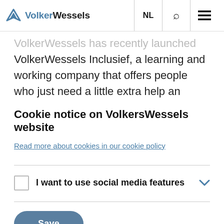VolkerWessels | NL | Search | Menu
VolkerWessels has recently launched VolkerWessels Inclusief, a learning and working company that offers people who just need a little extra help an opportunity to secure a
Cookie notice on VolkersWessels website
Read more about cookies in our cookie policy
I want to use social media features
Save